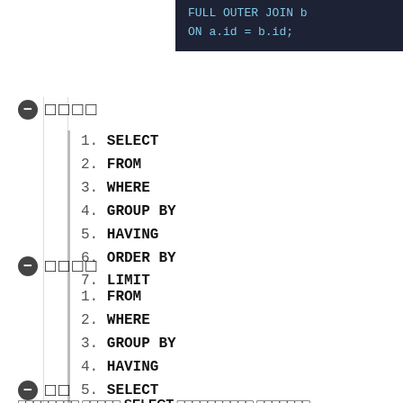[Figure (screenshot): Dark-themed code block showing SQL: FULL OUTER JOIN b ON a.id = b.id;]
⬤ □□□□
1. SELECT
2. FROM
3. WHERE
4. GROUP BY
5. HAVING
6. ORDER BY
7. LIMIT
⬤ □□□□
1. FROM
2. WHERE
3. GROUP BY
4. HAVING
5. SELECT
6. ORDER BY
7. LIMIT
⬤ □□
□□□□□□□□ □□□□□ SELECT □□□□□□□□□□ □□□□□□□